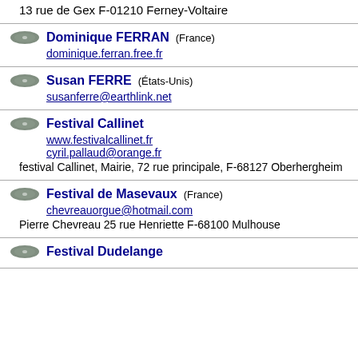13 rue de Gex F-01210 Ferney-Voltaire
Dominique FERRAN (France)
dominique.ferran.free.fr
Susan FERRE (États-Unis)
susanferre@earthlink.net
Festival Callinet
www.festivalcallinet.fr
cyril.pallaud@orange.fr
festival Callinet, Mairie, 72 rue principale, F-68127 Oberhergheim
Festival de Masevaux (France)
chevreauorgue@hotmail.com
Pierre Chevreau 25 rue Henriette F-68100 Mulhouse
Festival Dudelange